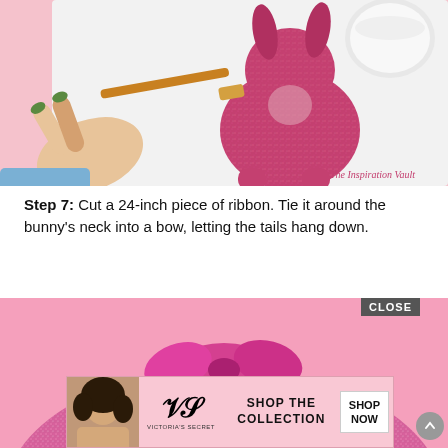[Figure (photo): A hand with green painted nails uses a small brush to apply glitter to a pink glittery bunny figurine on a white surface, with a small bowl of glitter in the background. Watermark reads: The Inspiration Vault]
Step 7: Cut a 24-inch piece of ribbon. Tie it around the bunny's neck into a bow, letting the tails hang down.
[Figure (photo): Close-up of a pink glittery bunny with a pink ribbon bow tied around its neck, against a pink background.]
[Figure (screenshot): Victoria's Secret advertisement banner showing a woman with curly hair, Victoria's Secret logo, and text 'SHOP THE COLLECTION' with a 'SHOP NOW' button. CLOSE button overlaid.]